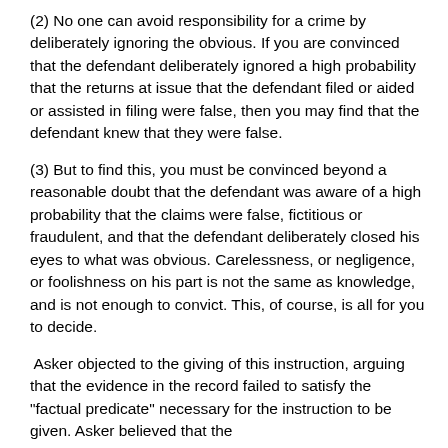(2) No one can avoid responsibility for a crime by deliberately ignoring the obvious. If you are convinced that the defendant deliberately ignored a high probability that the returns at issue that the defendant filed or aided or assisted in filing were false, then you may find that the defendant knew that they were false.
(3) But to find this, you must be convinced beyond a reasonable doubt that the defendant was aware of a high probability that the claims were false, fictitious or fraudulent, and that the defendant deliberately closed his eyes to what was obvious. Carelessness, or negligence, or foolishness on his part is not the same as knowledge, and is not enough to convict. This, of course, is all for you to decide.
Asker objected to the giving of this instruction, arguing that the evidence in the record failed to satisfy the "factual predicate" necessary for the instruction to be given. Asker believed that the